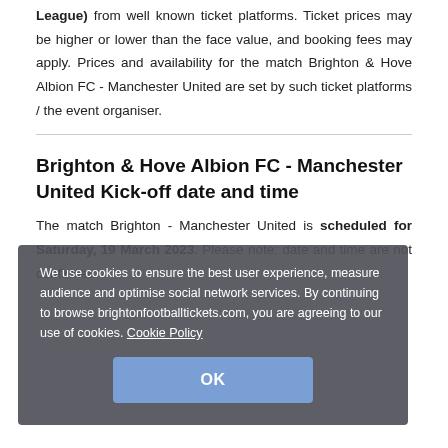League) from well known ticket platforms. Ticket prices may be higher or lower than the face value, and booking fees may apply. Prices and availability for the match Brighton & Hove Albion FC - Manchester United are set by such ticket platforms / the event organiser.
Brighton & Hove Albion FC - Manchester United Kick-off date and time
The match Brighton - Manchester United is scheduled for Saturday, 19 March 2023. Please note: date and time are not confirmed.
We use cookies to ensure the best user experience, measure audience and optimise social network services. By continuing to browse brightonfootballtickets.com, you are agreeing to our use of cookies. Cookie Policy OK